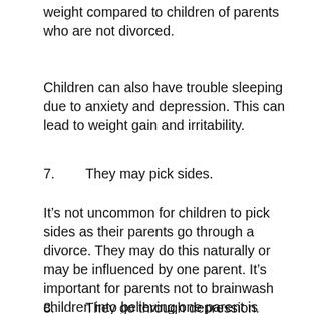weight compared to children of parents who are not divorced.
Children can also have trouble sleeping due to anxiety and depression. This can lead to weight gain and irritability.
7.    They may pick sides.
It's not uncommon for children to pick sides as their parents go through a divorce. They may do this naturally or may be influenced by one parent. It's important for parents not to brainwash children into believing one parent is better than the other.  Children should love and respect both parents.
8.    They go through depression.